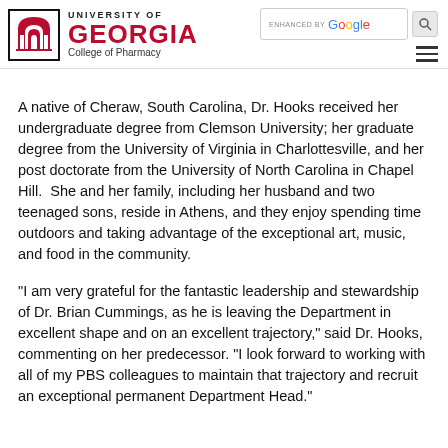[Figure (logo): University of Georgia College of Pharmacy logo with UGA seal and text]
A native of Cheraw, South Carolina, Dr. Hooks received her undergraduate degree from Clemson University; her graduate degree from the University of Virginia in Charlottesville, and her post doctorate from the University of North Carolina in Chapel Hill.  She and her family, including her husband and two teenaged sons, reside in Athens, and they enjoy spending time outdoors and taking advantage of the exceptional art, music, and food in the community.
“I am very grateful for the fantastic leadership and stewardship of Dr. Brian Cummings, as he is leaving the Department in excellent shape and on an excellent trajectory,” said Dr. Hooks, commenting on her predecessor. “I look forward to working with all of my PBS colleagues to maintain that trajectory and recruit an exceptional permanent Department Head.”